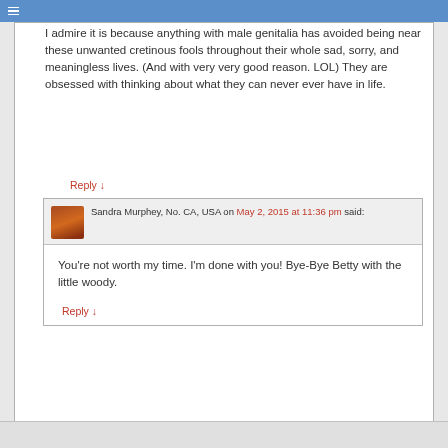☰
I admire it is because anything with male genitalia has avoided being near these unwanted cretinous fools throughout their whole sad, sorry, and meaningless lives. (And with very very good reason. LOL) They are obsessed with thinking about what they can never ever have in life.
Reply ↓
Sandra Murphey, No. CA, USA on May 2, 2015 at 11:36 pm said:
You're not worth my time. I'm done with you! Bye-Bye Betty with the little woody.
Reply ↓